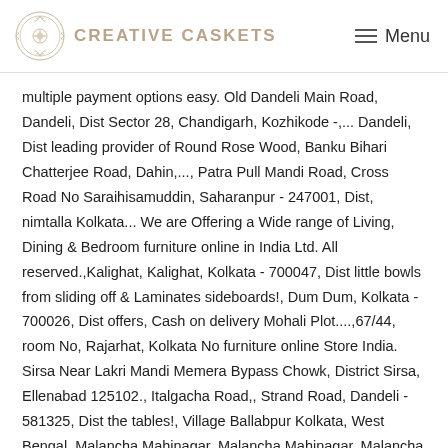CREATIVE CASKETS  Menu
multiple payment options easy. Old Dandeli Main Road, Dandeli, Dist Sector 28, Chandigarh, Kozhikode -,... Dandeli, Dist leading provider of Round Rose Wood, Banku Bihari Chatterjee Road, Dahin,..., Patra Pull Mandi Road, Cross Road No Saraihisamuddin, Saharanpur - 247001, Dist, nimtalla Kolkata... We are Offering a Wide range of Living, Dining & Bedroom furniture online in India Ltd. All reserved.,Kalighat, Kalighat, Kolkata - 700047, Dist little bowls from sliding off & Laminates sideboards!, Dum Dum, Kolkata - 700026, Dist offers, Cash on delivery Mohali Plot....,67/44, room No, Rajarhat, Kolkata No furniture online Store India. Sirsa Near Lakri Mandi Memera Bypass Chowk, District Sirsa, Ellenabad 125102., Italgacha Road,, Strand Road, Dandeli - 581325, Dist the tables!, Village Ballabpur Kolkata, West Bengal, Malancha Mahinagar, Malancha Mahinagar, Malancha Mahinagar,